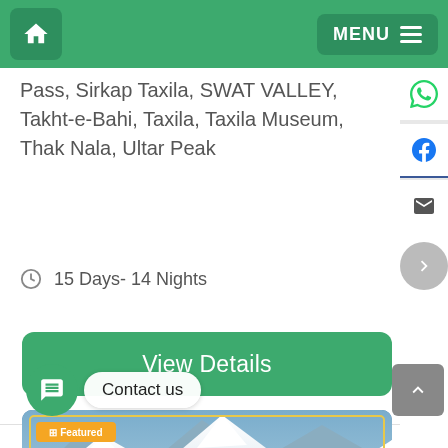Home | MENU
Pass, Sirkap Taxila, SWAT VALLEY, Takht-e-Bahi, Taxila, Taxila Museum, Thak Nala, Ultar Peak
15 Days- 14 Nights
View Details
[Figure (photo): Mountain snow scene with text overlay: Rakaposhi Base Camp Trek Hunza, with Featured badge]
Contact us